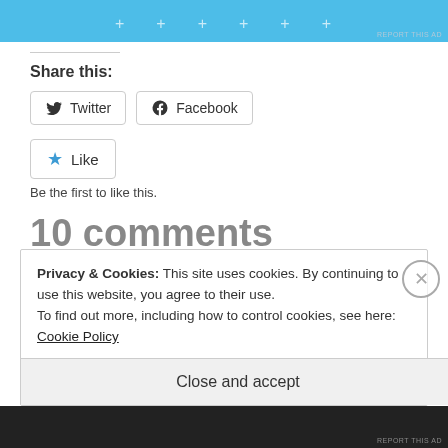[Figure (screenshot): Blue advertisement banner at top with plus marks]
Share this:
[Figure (screenshot): Twitter and Facebook share buttons]
[Figure (screenshot): Like button with star icon]
Be the first to like this.
10 comments
Privacy & Cookies: This site uses cookies. By continuing to use this website, you agree to their use.
To find out more, including how to control cookies, see here: Cookie Policy
Close and accept